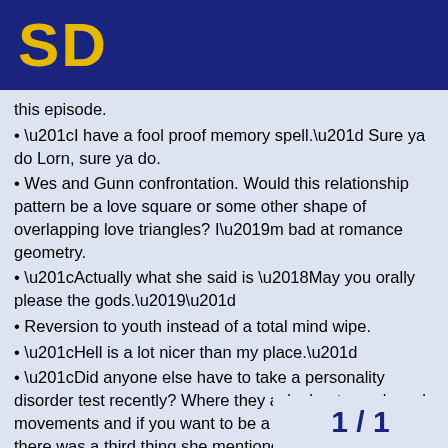SD
this episode.
• “I have a fool proof memory spell.” Sure ya do Lorn, sure ya do.
• Wes and Gunn confrontation. Would this relationship pattern be a love square or some other shape of overlapping love triangles? I’m bad at romance geometry.
• “Actually what she said is ‘May you orally please the gods.’”
• Reversion to youth instead of a total mind wipe.
• “Hell is a lot nicer than my place.”
• “Did anyone else have to take a personality disorder test recently? Where they ask about your bowel movements and if you want to be a florist.” (I think there was a third thing she mentioned, but my brain is fried from doing a take home test all day so I can’t remember).
• “Do you have any weed?”
• “I say its time the English got what’s comming to him. I’m rooting for the slave.”
• “I’m invisible.” “No you’re not.”
• “You know what would make this better. S
1 / 1